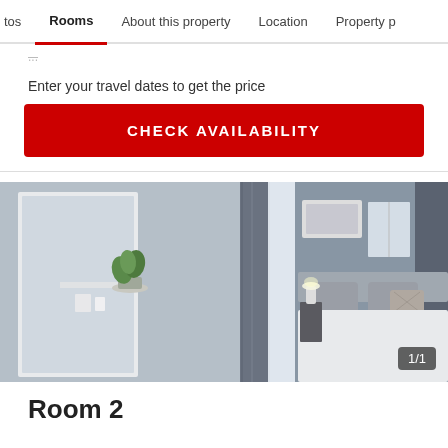tos  Rooms  About this property  Location  Property p
Enter your travel dates to get the price
CHECK AVAILABILITY
[Figure (photo): Hotel bedroom with grey decor, bed with white linen and grey cushions, bedside table with lamp, wardrobe with mirror. Photo counter shows 1/1.]
Room 2